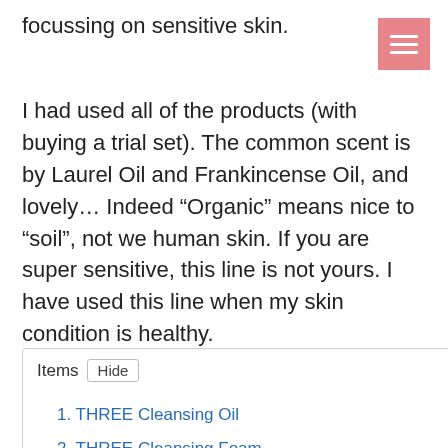focussing on sensitive skin.
I had used all of the products (with buying a trial set). The common scent is by Laurel Oil and Frankincense Oil, and lovely… Indeed “Organic” means nice to “soil”, not we human skin. If you are super sensitive, this line is not yours. I have used this line when my skin condition is healthy.
1. THREE Cleansing Oil
2. THREE Cleansing Foam
3. THREE Treatment Lotion
4. THREE Treatment Emulsion
5. THREE Treatment Cream